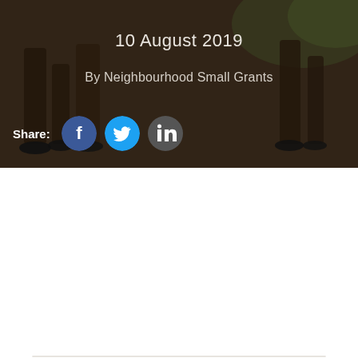[Figure (photo): Hero background image showing legs of people standing on dirt ground with bokeh green background]
10 August 2019
By Neighbourhood Small Grants
Share:
This event has passed.